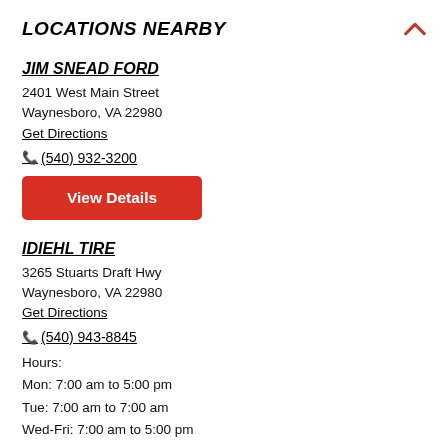LOCATIONS NEARBY
JIM SNEAD FORD
2401 West Main Street
Waynesboro, VA 22980
Get Directions
(540) 932-3200
View Details
IDIEHL TIRE
3265 Stuarts Draft Hwy
Waynesboro, VA 22980
Get Directions
(540) 943-8845
Hours:
Mon: 7:00 am to 5:00 pm
Tue: 7:00 am to 7:00 am
Wed-Fri: 7:00 am to 5:00 pm